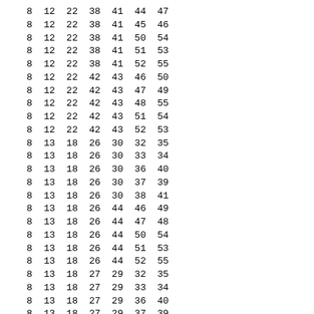| 8 | 12 | 22 | 38 | 41 | 44 | 47 |
| 8 | 12 | 22 | 38 | 41 | 45 | 46 |
| 8 | 12 | 22 | 38 | 41 | 50 | 54 |
| 8 | 12 | 22 | 38 | 41 | 51 | 53 |
| 8 | 12 | 22 | 38 | 41 | 52 | 55 |
| 8 | 12 | 22 | 42 | 43 | 46 | 50 |
| 8 | 12 | 22 | 42 | 43 | 47 | 49 |
| 8 | 12 | 22 | 42 | 43 | 48 | 55 |
| 8 | 12 | 22 | 42 | 43 | 51 | 54 |
| 8 | 12 | 22 | 42 | 43 | 52 | 53 |
| 8 | 13 | 18 | 26 | 30 | 32 | 35 |
| 8 | 13 | 18 | 26 | 30 | 33 | 34 |
| 8 | 13 | 18 | 26 | 30 | 36 | 40 |
| 8 | 13 | 18 | 26 | 30 | 37 | 39 |
| 8 | 13 | 18 | 26 | 30 | 38 | 41 |
| 8 | 13 | 18 | 26 | 44 | 46 | 49 |
| 8 | 13 | 18 | 26 | 44 | 47 | 48 |
| 8 | 13 | 18 | 26 | 44 | 50 | 54 |
| 8 | 13 | 18 | 26 | 44 | 51 | 53 |
| 8 | 13 | 18 | 26 | 44 | 52 | 55 |
| 8 | 13 | 18 | 27 | 29 | 32 | 35 |
| 8 | 13 | 18 | 27 | 29 | 33 | 34 |
| 8 | 13 | 18 | 27 | 29 | 36 | 40 |
| 8 | 13 | 18 | 27 | 29 | 37 | 39 |
| 8 | 13 | 18 | 27 | 29 | 38 | 41 |
| 8 | 13 | 18 | 27 | 43 | 46 | 49 |
| 8 | 13 | 18 | 27 | 43 | 47 | 48 |
| 8 | 13 | 18 | 27 | 43 | 50 | 54 |
| 8 | 13 | 18 | 27 | 43 | 51 | 53 |
| 8 | 13 | 18 | 27 | 43 | 52 | 55 |